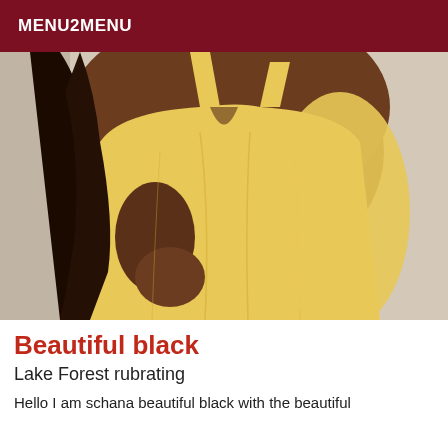MENU2MENU
[Figure (photo): A woman wearing a yellow bodycon dress posed from the shoulders down, with dark curly hair visible on the left side. Background is a light neutral color.]
Beautiful black
Lake Forest rubrating
Hello I am schana beautiful black with the beautiful